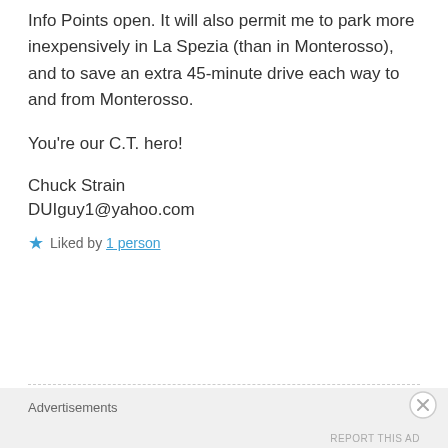Info Points open. It will also permit me to park more inexpensively in La Spezia (than in Monterosso), and to save an extra 45-minute drive each way to and from Monterosso.
You're our C.T. hero!
Chuck Strain
DUIguy1@yahoo.com
★ Liked by 1 person
Advertisements
REPORT THIS AD